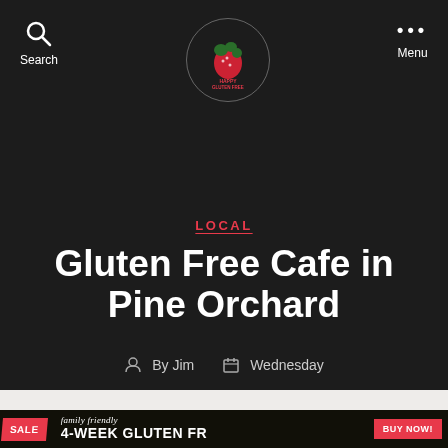Search | Happy Gluten Free | Menu
LOCAL
Gluten Free Cafe in Pine Orchard
By Jim  Wednesday
[Figure (infographic): Advertisement banner: SALE badge, 'family friendly', '4-WEEK GLUTEN FR', BUY NOW button]